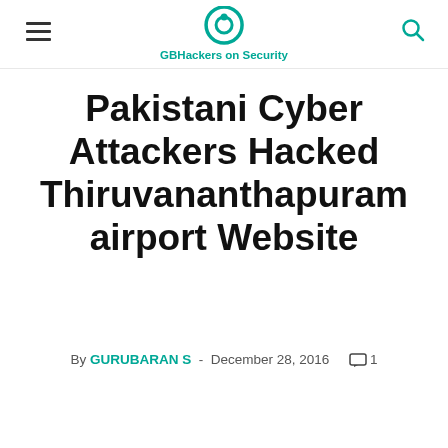GBHackers on Security
Pakistani Cyber Attackers Hacked Thiruvananthapuram airport Website
By GURUBARAN S - December 28, 2016  1